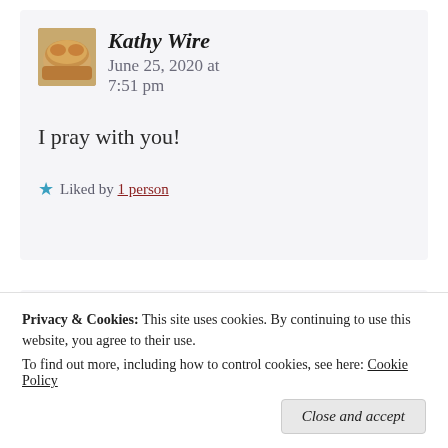Kathy Wire — June 25, 2020 at 7:51 pm
I pray with you!
Liked by 1 person
Becoming His Tapestry — June
Privacy & Cookies: This site uses cookies. By continuing to use this website, you agree to their use. To find out more, including how to control cookies, see here: Cookie Policy
Close and accept